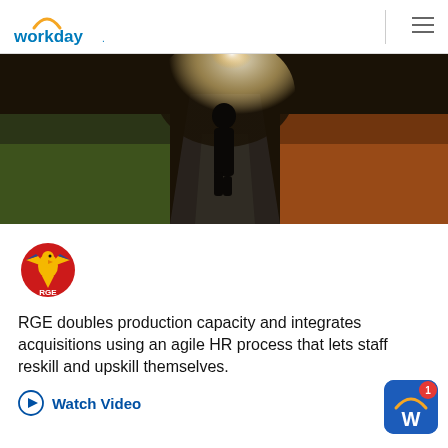[Figure (logo): Workday logo with orange arc and blue text]
[Figure (photo): Silhouette of a person walking down a path between fields of flowers, backlit by bright light]
[Figure (logo): RGE logo — red circle with a golden eagle, text RGE at the bottom]
RGE doubles production capacity and integrates acquisitions using an agile HR process that lets staff reskill and upskill themselves.
Watch Video
[Figure (logo): Workday W app button (blue square with orange arc and white W), with red badge showing 1]